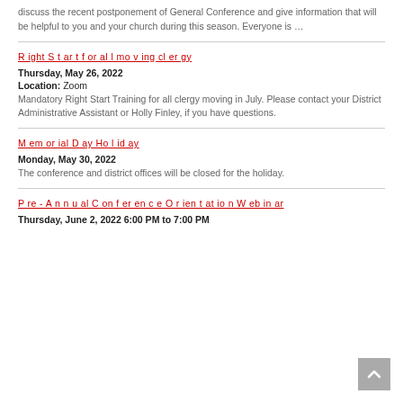discuss the recent postponement of General Conference and give information that will be helpful to you and your church during this season. Everyone is …
Right Start for all moving clergy
Thursday, May 26, 2022
Location: Zoom
Mandatory Right Start Training for all clergy moving in July. Please contact your District Administrative Assistant or Holly Finley, if you have questions.
Memorial Day Holiday
Monday, May 30, 2022
The conference and district offices will be closed for the holiday.
Pre-Annual Conference Orientation Webinar
Thursday, June 2, 2022 6:00 PM to 7:00 PM